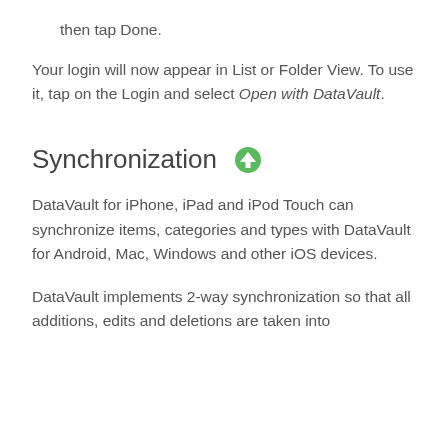then tap Done.
Your login will now appear in List or Folder View. To use it, tap on the Login and select Open with DataVault.
Synchronization
DataVault for iPhone, iPad and iPod Touch can synchronize items, categories and types with DataVault for Android, Mac, Windows and other iOS devices.
DataVault implements 2-way synchronization so that all additions, edits and deletions are taken into